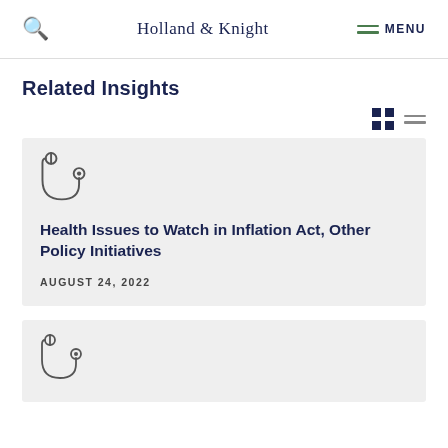Holland & Knight | MENU
Related Insights
[Figure (other): Grid and list view toggle icons]
[Figure (illustration): Stethoscope icon]
Health Issues to Watch in Inflation Act, Other Policy Initiatives
AUGUST 24, 2022
[Figure (illustration): Stethoscope icon for second card]